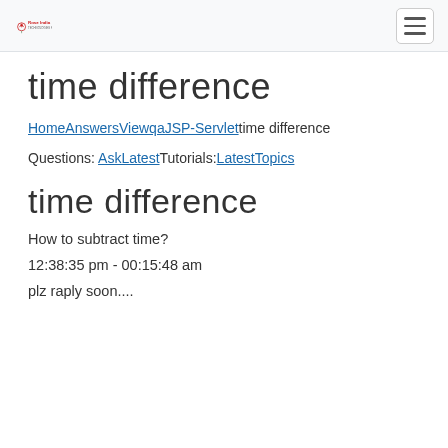Rose India
time difference
HomeAnswersViewqaJSP-Servlettime difference
Questions: AskLatestTutorials:LatestTopics
time difference
How to subtract time?
12:38:35 pm - 00:15:48 am
plz raply soon....